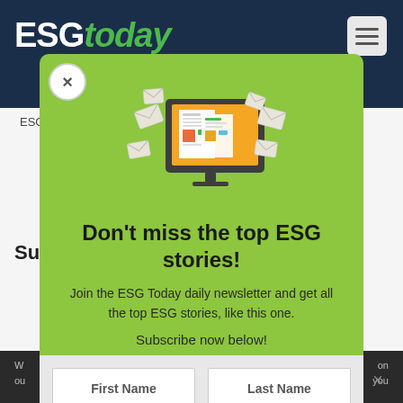ESG today
[Figure (screenshot): ESG Today website screenshot showing newsletter subscription popup modal with green background, computer monitor illustration with newsletter/email content, headline 'Don't miss the top ESG stories!', body text, and form fields for First Name and Last Name]
Don't miss the top ESG stories!
Join the ESG Today daily newsletter and get all the top ESG stories, like this one.
Subscribe now below!
First Name
Last Name